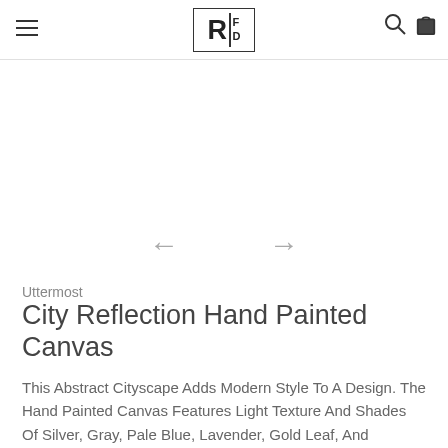RFD [logo with hamburger menu, search icon, cart icon]
[Figure (other): White blank image area for product photo carousel with left and right navigation arrows]
Uttermost
City Reflection Hand Painted Canvas
This Abstract Cityscape Adds Modern Style To A Design. The Hand Painted Canvas Features Light Texture And Shades Of Silver, Gray, Pale Blue, Lavender, Gold Leaf, And Charcoal. An Antiqued Silver Leaf Gallery Frame Completes This Piece.